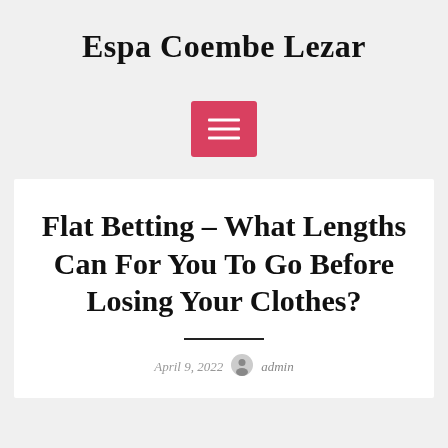Espa Coembe Lezar
[Figure (other): Red hamburger menu button with three white horizontal lines]
Flat Betting – What Lengths Can For You To Go Before Losing Your Clothes?
April 9, 2022  admin